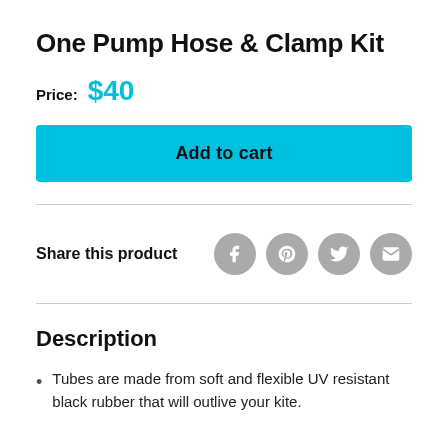One Pump Hose & Clamp Kit
Price: $40
Add to cart
Share this product
Description
Tubes are made from soft and flexible UV resistant black rubber that will outlive your kite.